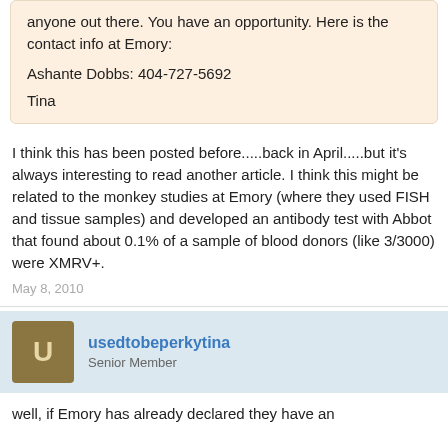anyone out there. You have an opportunity. Here is the contact info at Emory:
Ashante Dobbs: 404-727-5692
Tina
I think this has been posted before.....back in April.....but it's always interesting to read another article. I think this might be related to the monkey studies at Emory (where they used FISH and tissue samples) and developed an antibody test with Abbot that found about 0.1% of a sample of blood donors (like 3/3000) were XMRV+.
May 8, 2010
usedtobeperkytina
Senior Member
well, if Emory has already declared they have an